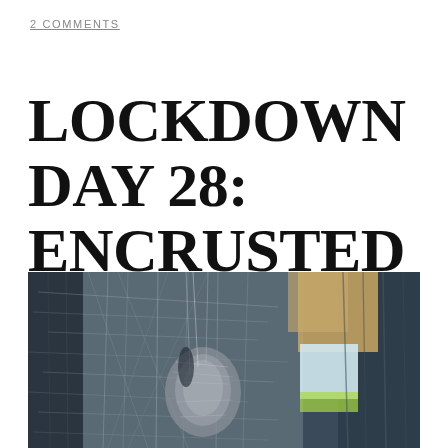2 COMMENTS
LOCKDOWN DAY 28: ENCRUSTED MINDS
[Figure (photo): Close-up photograph of a dusty, fibrous, encrusted surface with tangled web-like strands in dark blue-grey tones, with a lighter sandy/gold area visible in the upper right and a glimpse of blue sky or light in the middle right. The texture is highly detailed and organic-looking, resembling dried moss, cobwebs, or mineral encrustation.]